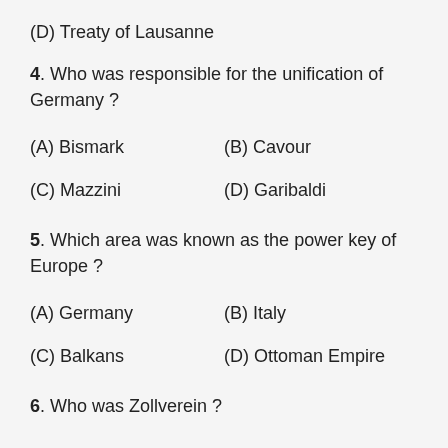(D) Treaty of Lausanne
4. Who was responsible for the unification of Germany ?
(A) Bismark
(B) Cavour
(C) Mazzini
(D) Garibaldi
5. Which area was known as the power key of Europe ?
(A) Germany
(B) Italy
(C) Balkans
(D) Ottoman Empire
6. Who was Zollverein...?